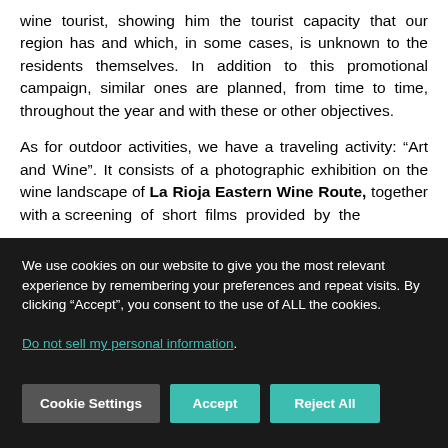wine tourist, showing him the tourist capacity that our region has and which, in some cases, is unknown to the residents themselves. In addition to this promotional campaign, similar ones are planned, from time to time, throughout the year and with these or other objectives.
As for outdoor activities, we have a traveling activity: “Art and Wine”. It consists of a photographic exhibition on the wine landscape of La Rioja Eastern Wine Route, together with a screening of short films provided by the
We use cookies on our website to give you the most relevant experience by remembering your preferences and repeat visits. By clicking “Accept”, you consent to the use of ALL the cookies.
Do not sell my personal information.